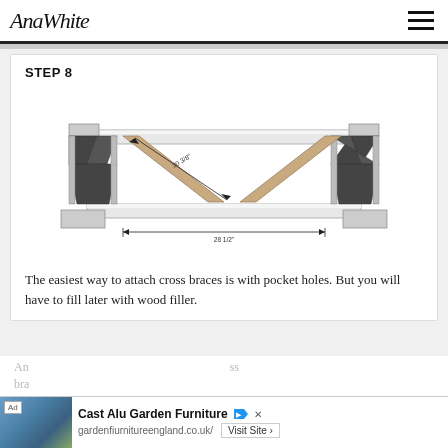AnaWhite
STEP 8
[Figure (engineering-diagram): 3D engineering diagram of a table/bench frame showing cross brace assembly with dimensions labeled: 30 3/8" diagonal brace length and 28 1/2" base width. The frame has decorative X-shaped cross braces between two end supports.]
The easiest way to attach cross braces is with pocket holes.  But you will have to fill later with wood filler.
An ... ss bra...